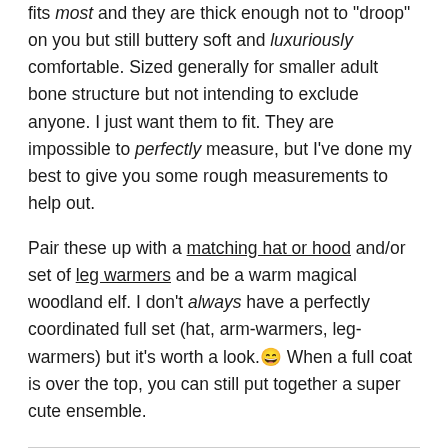fits most and they are thick enough not to "droop" on you but still buttery soft and luxuriously comfortable. Sized generally for smaller adult bone structure but not intending to exclude anyone. I just want them to fit. They are impossible to perfectly measure, but I've done my best to give you some rough measurements to help out.
Pair these up with a matching hat or hood and/or set of leg warmers and be a warm magical woodland elf. I don't always have a perfectly coordinated full set (hat, arm-warmers, leg-warmers) but it's worth a look.😄 When a full coat is over the top, you can still put together a super cute ensemble.
| Rough Arm-Warmer Measurements: |  |
| --- | --- |
| Length: | ~8.75 inches |
| Circumference at | ~9 inches |